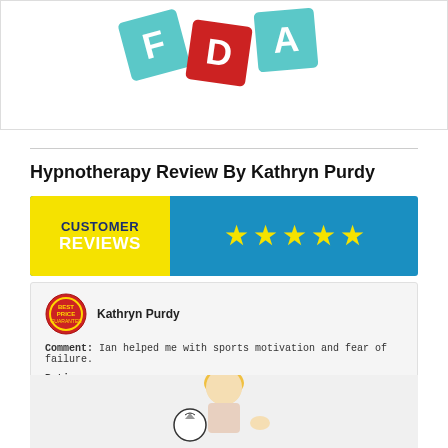[Figure (photo): Colorful toy letter blocks spelling 'D' on white background]
Hypnotherapy Review By Kathryn Purdy
[Figure (infographic): Customer Reviews banner with yellow stars on blue background]
Kathryn Purdy
Comment: Ian helped me with sports motivation and fear of failure.
Rating: 4.5 stars
[Figure (photo): Blonde woman holding soccer ball with thumbs up, face paint on cheeks]